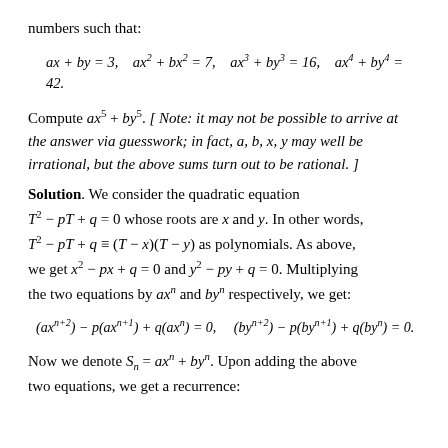numbers such that:
Compute ax^5 + by^5. [ Note: it may not be possible to arrive at the answer via guesswork; in fact, a, b, x, y may well be irrational, but the above sums turn out to be rational. ]
Solution. We consider the quadratic equation T^2 - pT + q = 0 whose roots are x and y. In other words, T^2 - pT + q ≡ (T - x)(T - y) as polynomials. As above, we get x^2 - px + q = 0 and y^2 - py + q = 0. Multiplying the two equations by ax^n and by^n respectively, we get:
Now we denote S_n = ax^n + by^n. Upon adding the above two equations, we get a recurrence: